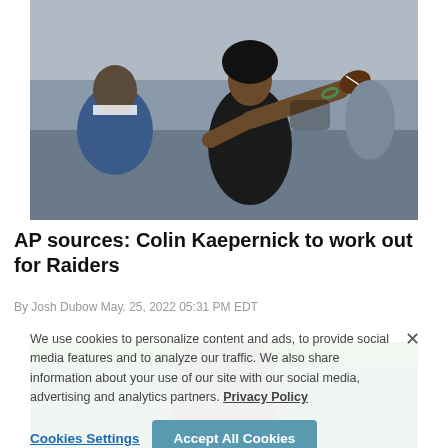[Figure (photo): Colin Kaepernick throwing a football, wearing a black sleeveless shirt, with another person in a blue jacket visible in the background]
AP sources: Colin Kaepernick to work out for Raiders
By Josh Dubow May. 25, 2022 05:31 PM EDT
We use cookies to personalize content and ads, to provide social media features and to analyze our traffic. We also share information about your use of our site with our social media, advertising and analytics partners. Privacy Policy
[Figure (photo): Close-up photo of a person's head, partially visible behind the cookie consent overlay]
Cookies Settings   Accept All Cookies